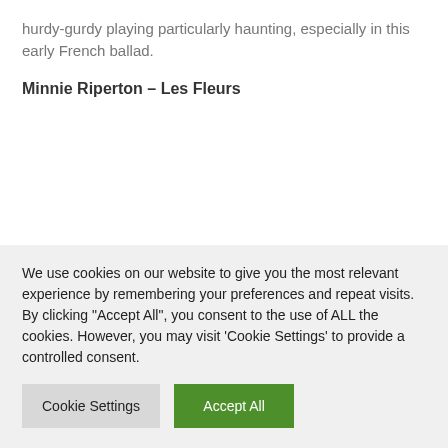hurdy-gurdy playing particularly haunting, especially in this early French ballad.
Minnie Riperton – Les Fleurs
We use cookies on our website to give you the most relevant experience by remembering your preferences and repeat visits. By clicking "Accept All", you consent to the use of ALL the cookies. However, you may visit 'Cookie Settings' to provide a controlled consent.